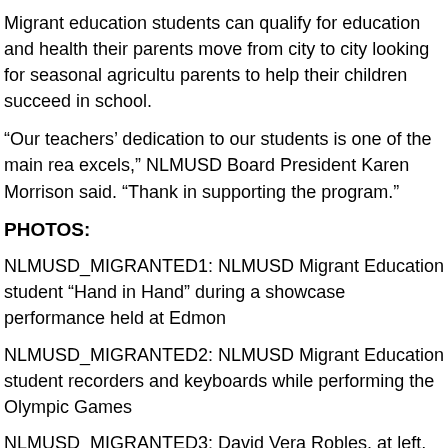Migrant education students can qualify for education and health their parents move from city to city looking for seasonal agricult parents to help their children succeed in school.
“Our teachers’ dedication to our students is one of the main rea excels,” NLMUSD Board President Karen Morrison said. “Thank in supporting the program.”
PHOTOS:
NLMUSD_MIGRANTED1: NLMUSD Migrant Education student “Hand in Hand” during a showcase performance held at Edmon
NLMUSD_MIGRANTED2: NLMUSD Migrant Education student recorders and keyboards while performing the Olympic Games
NLMUSD_MIGRANTED3: David Vera Robles, at left, and his cl original game they created for the Olympics as part of their stu session at Edmondson Elementary School.